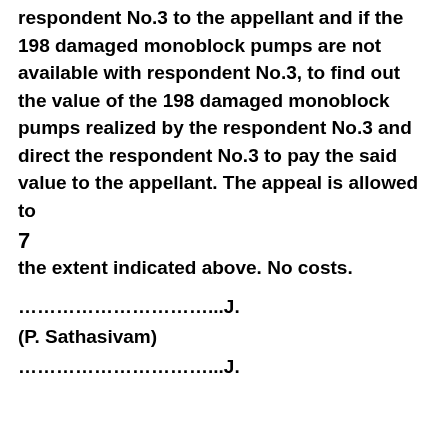respondent No.3 to the appellant and if the 198 damaged monoblock pumps are not available with respondent No.3, to find out the value of the 198 damaged monoblock pumps realized by the respondent No.3 and direct the respondent No.3 to pay the said value to the appellant. The appeal is allowed to
7
the extent indicated above. No costs.
…………………………...J.
(P. Sathasivam)
…………………………...J.